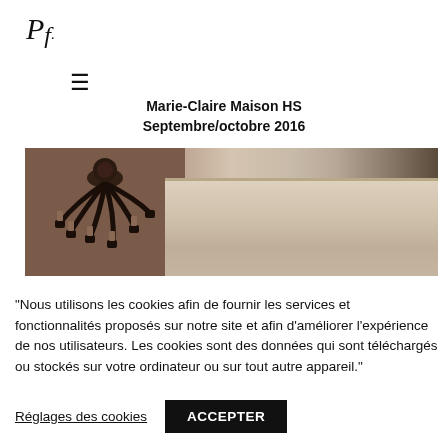[Figure (logo): Stylized Pf logo in serif italic font with a dot, followed by a hamburger menu icon below]
Marie-Claire Maison HS
Septembre/octobre 2016
[Figure (photo): Interior architectural photo showing an ornate chandelier on the left with dark metal arms and candle holders, and elaborate classical molding/cornice details in beige/cream tones on the right, with dark curtains partially visible]
"Nous utilisons les cookies afin de fournir les services et fonctionnalités proposés sur notre site et afin d’améliorer l’expérience de nos utilisateurs. Les cookies sont des données qui sont téléchargés ou stockés sur votre ordinateur ou sur tout autre appareil."
Réglages des cookies
ACCEPTER